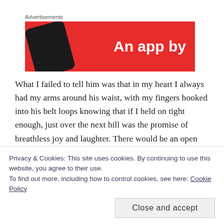Advertisements
[Figure (illustration): Red advertisement banner with a dark smartphone on the left and white bold text reading 'An app by' on the right]
What I failed to tell him was that in my heart I always had my arms around his waist, with my fingers hooked into his belt loops knowing that if I held on tight enough, just over the next hill was the promise of breathless joy and laughter. There would be an open space to ride free and say, “Let’s go!”
But there will never be another evening ride. No more “longing.”
Privacy & Cookies: This site uses cookies. By continuing to use this website, you agree to their use.
To find out more, including how to control cookies, see here: Cookie Policy
Close and accept